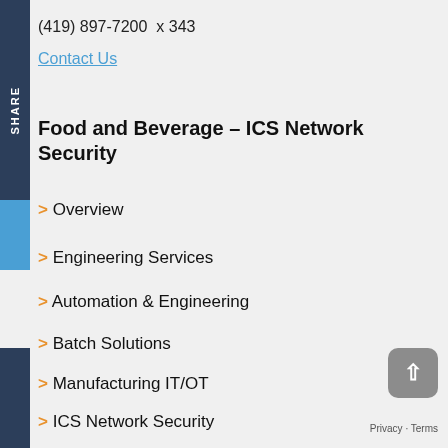(419) 897-7200  x 343
Contact Us
Food and Beverage – ICS Network Security
> Overview
> Engineering Services
> Automation & Engineering
> Batch Solutions
> Manufacturing IT/OT
> ICS Network Security
> Filling & Packaging
> Legacy System Upgrades